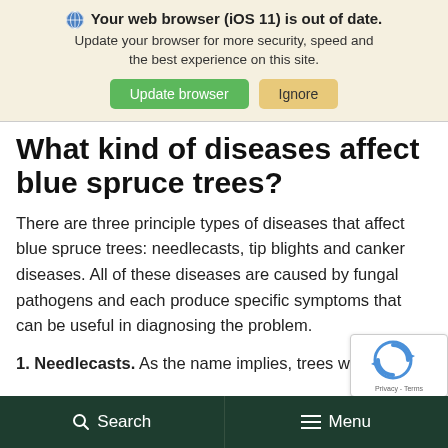Your web browser (iOS 11) is out of date. Update your browser for more security, speed and the best experience on this site. Update browser | Ignore
What kind of diseases affect blue spruce trees?
There are three principle types of diseases that affect blue spruce trees: needlecasts, tip blights and canker diseases. All of these diseases are caused by fungal pathogens and each produce specific symptoms that can be useful in diagnosing the problem.
1. Needlecasts. As the name implies, trees with
Search | Menu